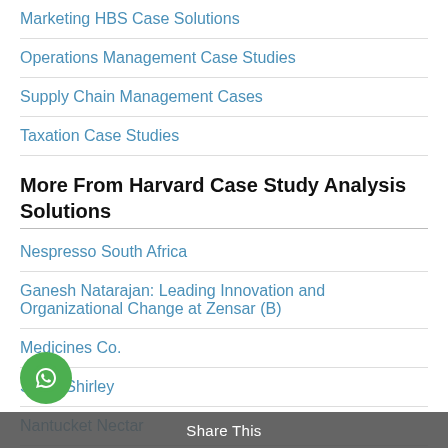Marketing HBS Case Solutions
Operations Management Case Studies
Supply Chain Management Cases
Taxation Case Studies
More From Harvard Case Study Analysis Solutions
Nespresso South Africa
Ganesh Natarajan: Leading Innovation and Organizational Change at Zensar (B)
Medicines Co.
Steve Shirley
Nantucket Nectar
Islamic Banking Lessons for the Financial Sector
Wintal (F): From Multi-Geographic Contact to Open Source
Share This